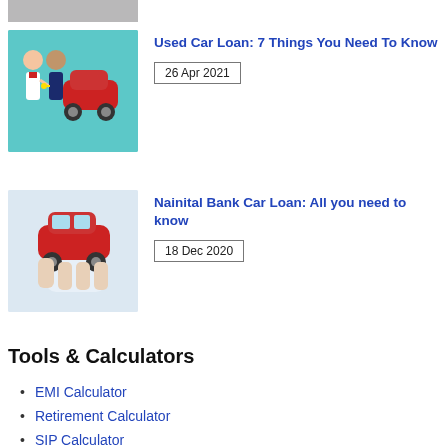[Figure (photo): Partial cropped image at top of page (grey/blurred)]
[Figure (illustration): Cartoon illustration of two men exchanging car keys next to a red car, on teal background]
Used Car Loan: 7 Things You Need To Know
26 Apr 2021
[Figure (photo): Photo of a hand holding a red toy/model car]
Nainital Bank Car Loan: All you need to know
18 Dec 2020
Tools & Calculators
EMI Calculator
Retirement Calculator
SIP Calculator